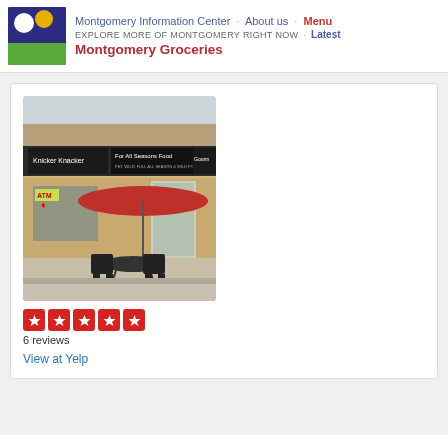Montgomery Information Center · About us · Menu
EXPLORE MORE OF MONTGOMERY RIGHT NOW · Latest
Montgomery Groceries
[Figure (photo): Exterior photo of a strip mall storefront showing Knicker Knacker and For All Seasons Food stores, with a red umbrella and outdoor table and chairs in front. ATM sign visible on left side.]
6 reviews
View at Yelp